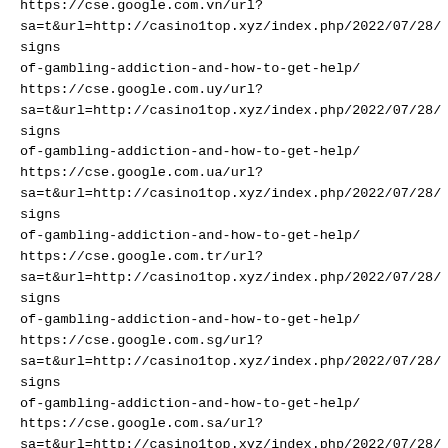https://cse.google.com.vn/url?
sa=t&url=http://casino1top.xyz/index.php/2022/07/28/signs-of-gambling-addiction-and-how-to-get-help/
https://cse.google.com.uy/url?
sa=t&url=http://casino1top.xyz/index.php/2022/07/28/signs-of-gambling-addiction-and-how-to-get-help/
https://cse.google.com.ua/url?
sa=t&url=http://casino1top.xyz/index.php/2022/07/28/signs-of-gambling-addiction-and-how-to-get-help/
https://cse.google.com.tr/url?
sa=t&url=http://casino1top.xyz/index.php/2022/07/28/signs-of-gambling-addiction-and-how-to-get-help/
https://cse.google.com.sg/url?
sa=t&url=http://casino1top.xyz/index.php/2022/07/28/signs-of-gambling-addiction-and-how-to-get-help/
https://cse.google.com.sa/url?
sa=t&url=http://casino1top.xyz/index.php/2022/07/28/signs-of-gambling-addiction-and-how-to-get-help/
https://cse.google.com.pr/url?
sa=t&url=http://casino1top.xyz/index.php/2022/07/28/signs-of-gambling-addiction-and-how-to-get-help/